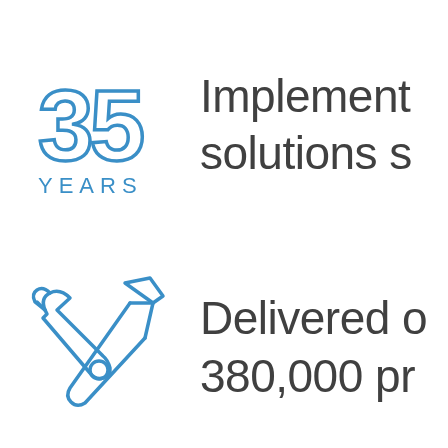[Figure (illustration): Line art icon of the number 35 with the word YEARS below it, in blue outline style]
Implemented solutions s
[Figure (illustration): Line art icon of crossed wrench and hammer tools in blue outline style]
Delivered o 380,000 pr